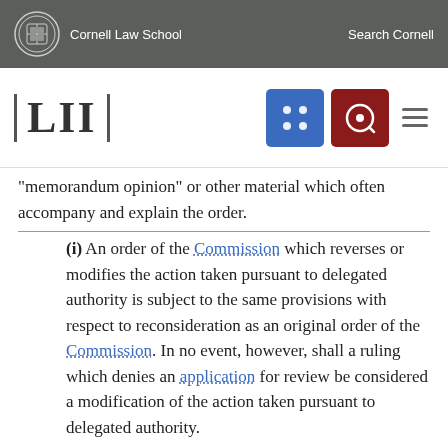Cornell Law School | Search Cornell
[LII] navigation bar
“memorandom opinion” or other material which often accompany and explain the order.
(i) An order of the Commission which reverses or modifies the action taken pursuant to delegated authority is subject to the same provisions with respect to reconsideration as an original order of the Commission. In no event, however, shall a ruling which denies an application for review be considered a modification of the action taken pursuant to delegated authority.
(j) No evidence other than newly discovered